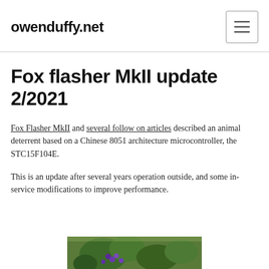owenduffy.net
Fox flasher MkII update 2/2021
Fox Flasher MkII and several follow on articles described an animal deterrent based on a Chinese 8051 architecture microcontroller, the STC15F104E.
This is an update after several years operation outside, and some in-service modifications to improve performance.
[Figure (photo): Partial photo of a garden scene with green plants and purple flowers visible at the bottom of the page]